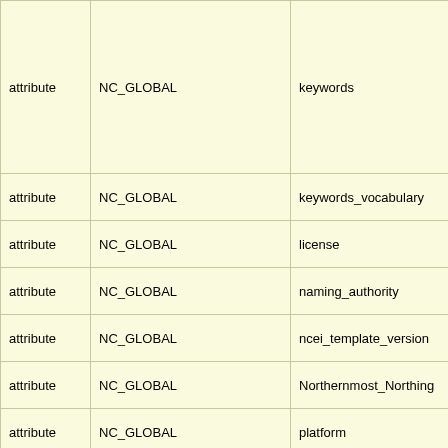| attribute | NC_GLOBAL | keywords |
| attribute | NC_GLOBAL | keywords_vocabulary |
| attribute | NC_GLOBAL | license |
| attribute | NC_GLOBAL | naming_authority |
| attribute | NC_GLOBAL | ncei_template_version |
| attribute | NC_GLOBAL | Northernmost_Northing |
| attribute | NC_GLOBAL | platform |
| attribute | NC_GLOBAL | platform_type |